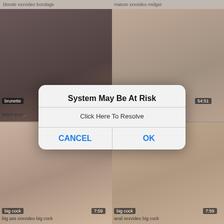[Figure (screenshot): Screenshot of an adult video website with a system alert dialog overlay. The dialog reads 'System May Be At Risk' with subtitle 'Click Here To Resolve' and two buttons: CANCEL and OK. Background shows blurred thumbnail grid of video content with labels like 'brunette', 'bdsm xxxv', 'big cock', 'big cock', 'big ass xxxvideo big cock', 'anal xxxvideo big cock' and timestamps '54:51', '7:59', '7:59'.]
System May Be At Risk
Click Here To Resolve
CANCEL
OK